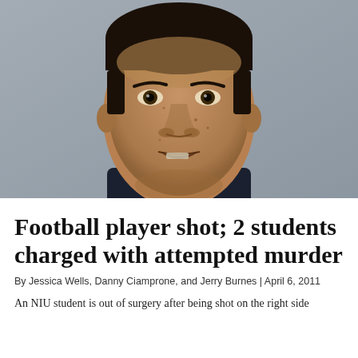[Figure (photo): Mugshot of a young man with a broad face, wearing a dark navy t-shirt, photographed against a gray wall background.]
Football player shot; 2 students charged with attempted murder
By Jessica Wells, Danny Ciamprone, and Jerry Burnes | April 6, 2011
An NIU student is out of surgery after being shot on the right side